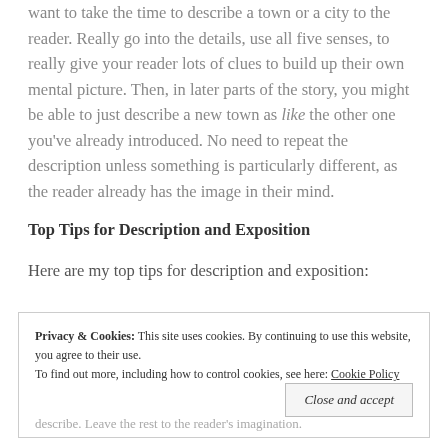want to take the time to describe a town or a city to the reader. Really go into the details, use all five senses, to really give your reader lots of clues to build up their own mental picture. Then, in later parts of the story, you might be able to just describe a new town as like the other one you've already introduced. No need to repeat the description unless something is particularly different, as the reader already has the image in their mind.
Top Tips for Description and Exposition
Here are my top tips for description and exposition:
Privacy & Cookies: This site uses cookies. By continuing to use this website, you agree to their use. To find out more, including how to control cookies, see here: Cookie Policy
describe. Leave the rest to the reader's imagination.